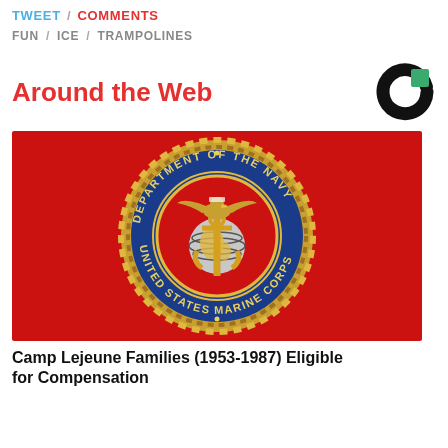TWEET / COMMENTS
FUN / ICE / TRAMPOLINES
Around the Web
[Figure (logo): Circular logo with black C shape and green square, Taboola-style content recommendation logo]
[Figure (photo): US Marine Corps seal on red background — Department of the Navy, United States Marine Corps emblem with eagle, globe, and anchor on blue circular seal with rope border]
Camp Lejeune Families (1953-1987) Eligible for Compensation